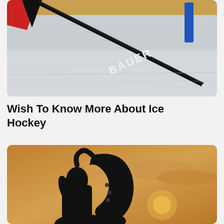[Figure (photo): Close-up photo of a Bauer ice hockey stick lying on ice rink surface, with a red and black jersey visible at the top left and a blue goal post in the background.]
Wish To Know More About Ice Hockey
[Figure (photo): Silhouette of a person playing saxophone against a golden sunset sky with clouds.]